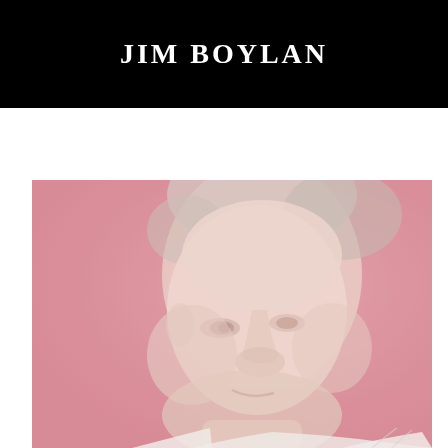JIM BOYLAN
[Figure (photo): A faded/washed-out close-up photograph of Jim Boylan, a middle-aged man with short graying hair, looking downward, against a pinkish-red background. He is wearing a white shirt.]